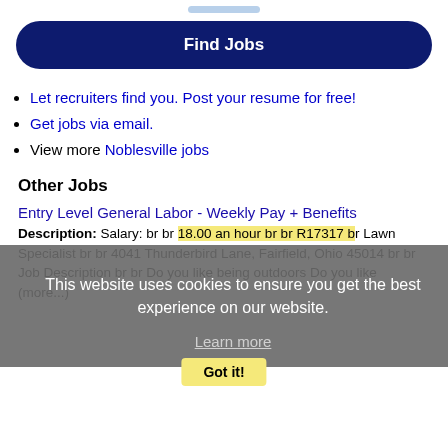[Figure (other): Light blue rounded bar at top of page]
Find Jobs
Let recruiters find you. Post your resume for free!
Get jobs via email.
View more Noblesville jobs
Other Jobs
Entry Level General Labor - Weekly Pay + Benefits
Description: Salary: br br 18.00 an hour br br R17317 br Lawn Specialist br br 4041 Thunderbird Lane, Fairfield, Ohio 45014 br br Job Description br br Do you like being outdoors Do you like (more...)
This website uses cookies to ensure you get the best experience on our website.
Learn more
Got it!